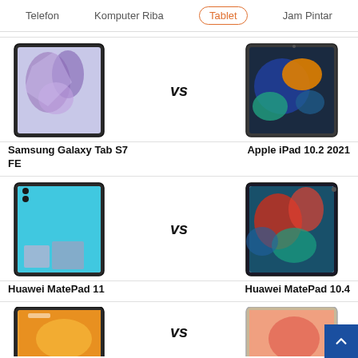Telefon  Komputer Riba  Tablet (active)  Jam Pintar
[Figure (screenshot): Samsung Galaxy Tab S7 FE tablet device image]
Samsung Galaxy Tab S7 FE
[Figure (screenshot): Apple iPad 10.2 2021 tablet device image]
Apple iPad 10.2 2021
[Figure (screenshot): Huawei MatePad 11 tablet device image]
Huawei MatePad 11
[Figure (screenshot): Huawei MatePad 10.4 tablet device image]
Huawei MatePad 10.4
[Figure (screenshot): Partial tablet device image bottom left]
[Figure (screenshot): Partial tablet device image bottom right]